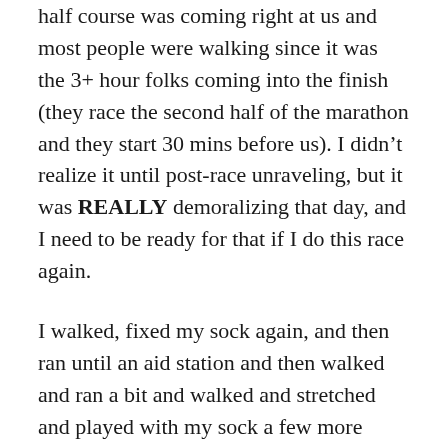half course was coming right at us and most people were walking since it was the 3+ hour folks coming into the finish (they race the second half of the marathon and they start 30 mins before us). I didn't realize it until post-race unraveling, but it was REALLY demoralizing that day, and I need to be ready for that if I do this race again.
I walked, fixed my sock again, and then ran until an aid station and then walked and ran a bit and walked and stretched and played with my sock a few more times. I didn't understand at that point how hot I was, but I was fading and starting to give up. Not good.
Around 18, the five hour Galloway (run/walk) pacer passed me and it woke me up. I was not willing to